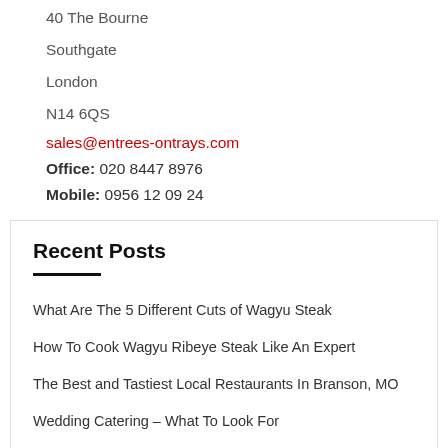Abacus Catering
40 The Bourne
Southgate
London
N14 6QS
sales@entrees-ontrays.com
Office: 020 8447 8976
Mobile: 0956 12 09 24
Recent Posts
What Are The 5 Different Cuts of Wagyu Steak
How To Cook Wagyu Ribeye Steak Like An Expert
The Best and Tastiest Local Restaurants In Branson, MO
Wedding Catering – What To Look For